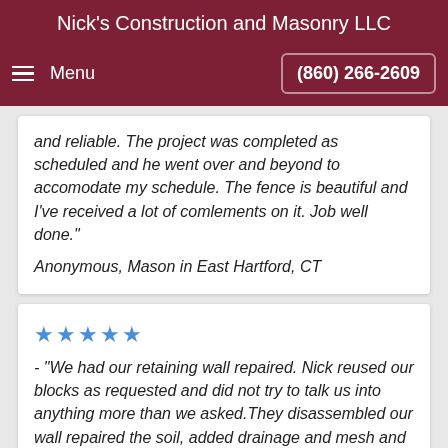Nick's Construction and Masonry LLC
Menu   (860) 266-2609
and reliable. The project was completed as scheduled and he went over and beyond to accomodate my schedule. The fence is beautiful and I've received a lot of comlements on it. Job well done."
Anonymous, Mason in East Hartford, CT
★★★★★ - "We had our retaining wall repaired. Nick reused our blocks as requested and did not try to talk us into anything more than we asked.They disassembled our wall repaired the soil, added drainage and mesh and rebuilt the wall / They were very professional, came to work early and prepared.